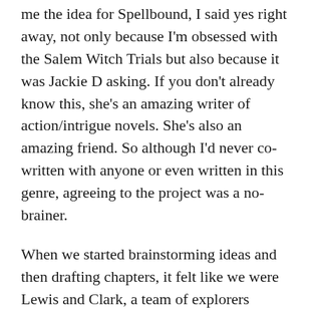me the idea for Spellbound, I said yes right away, not only because I'm obsessed with the Salem Witch Trials but also because it was Jackie D asking. If you don't already know this, she's an amazing writer of action/intrigue novels. She's also an amazing friend. So although I'd never co-written with anyone or even written in this genre, agreeing to the project was a no-brainer.
When we started brainstorming ideas and then drafting chapters, it felt like we were Lewis and Clark, a team of explorers excited about scouting this uncharted territory. Midway through, it began to feel we were more like Thelma and Louise, not sure where we were headed in this careening project we'd contractually committed to, but we held each other's hands and braced for a possible drive off the cliff. Luckily, the second third of the manuscript that always haunts